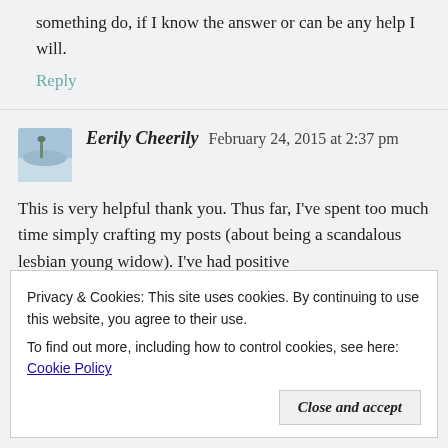something do, if I know the answer or can be any help I will.
Reply
Eerily Cheerily  February 24, 2015 at 2:37 pm
This is very helpful thank you. Thus far, I've spent too much time simply crafting my posts (about being a scandalous lesbian young widow). I've had positive
Privacy & Cookies: This site uses cookies. By continuing to use this website, you agree to their use.
To find out more, including how to control cookies, see here: Cookie Policy
Close and accept